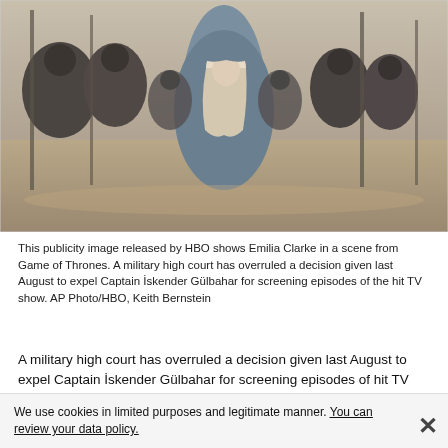[Figure (photo): Publicity image released by HBO showing Emilia Clarke (Daenerys Targaryen) in a blue hooded cloak, standing among armored soldiers/Unsullied in a desert scene from Game of Thrones.]
This publicity image released by HBO shows Emilia Clarke in a scene from Game of Thrones. A military high court has overruled a decision given last August to expel Captain İskender Gülbahar for screening episodes of the hit TV show. AP Photo/HBO, Keith Bernstein
A military high court has overruled a decision given last August to expel Captain İskender Gülbahar for screening episodes of hit TV show Game of Thrones, contending that the ruling was premature, while His ist b...
We use cookies in limited purposes and legitimate manner. You can review your data policy.